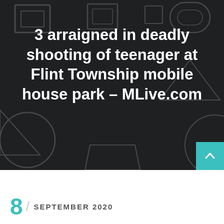3 arraigned in deadly shooting of teenager at Flint Township mobile house park – MLive.com
8 / SEPTEMBER 2020